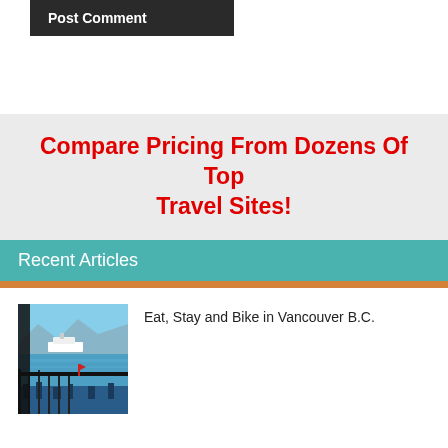Post Comment
Compare Pricing From Dozens Of Top Travel Sites!
Recent Articles
[Figure (photo): View from a balcony overlooking Vancouver harbour with cruise ship visible on blue water, mountains in background, balcony railing in foreground]
Eat, Stay and Bike in Vancouver B.C.